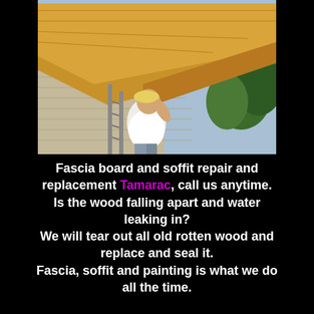[Figure (photo): A worker on a ladder installing or repairing fascia board and soffit on the exterior of a house. The worker is wearing a white shirt and cap, working on new wooden fascia boards along the roofline. House siding is visible, and trees are in the background.]
Fascia board and soffit repair and replacement Tamarac, call us anytime. Is the wood falling apart and water leaking in? We will tear out all old rotten wood and replace and seal it. Fascia, soffit and painting is what we do all the time.